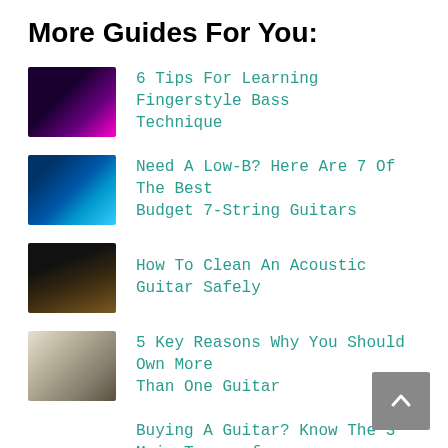More Guides For You:
6 Tips For Learning Fingerstyle Bass Technique
Need A Low-B? Here Are 7 Of The Best Budget 7-String Guitars
How To Clean An Acoustic Guitar Safely
5 Key Reasons Why You Should Own More Than One Guitar
Buying A Guitar? Know The 3 Main Types of Fretboard Woods